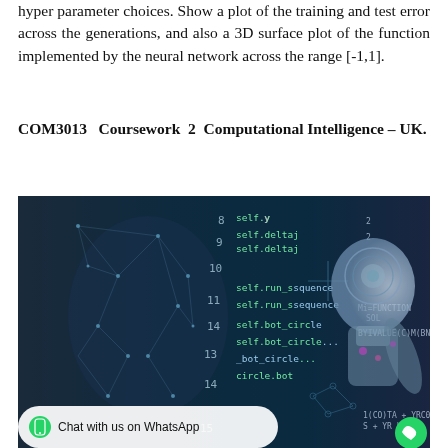hyper parameter choices. Show a plot of the training and test error across the generations, and also a 3D surface plot of the function implemented by the neural network across the range [-1,1].
COM3013 Coursework 2 Computational Intelligence – UK.
[Figure (photo): A composite image showing a human face made of geometric shapes/network mesh on the left, code snippets in the center with lines like 'self.y', 'self.delta_j', 'self.run_sequence', 'self.bot_circle', and a robotic humanoid figure on the right. A 'Chat with us on WhatsApp' bar is overlaid at the bottom.]